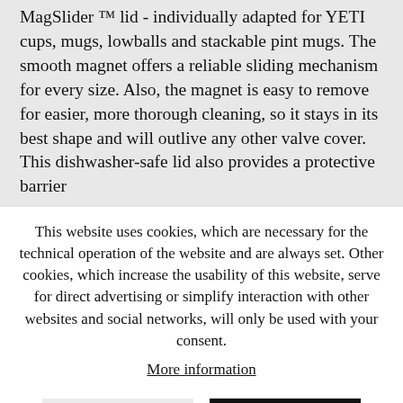MagSlider ™ lid - individually adapted for YETI cups, mugs, lowballs and stackable pint mugs. The smooth magnet offers a reliable sliding mechanism for every size. Also, the magnet is easy to remove for easier, more thorough cleaning, so it stays in its best shape and will outlive any other valve cover. This dishwasher-safe lid also provides a protective barrier
This website uses cookies, which are necessary for the technical operation of the website and are always set. Other cookies, which increase the usability of this website, serve for direct advertising or simplify interaction with other websites and social networks, will only be used with your consent.
More information
CONFIGURE
ACCEPT ALL